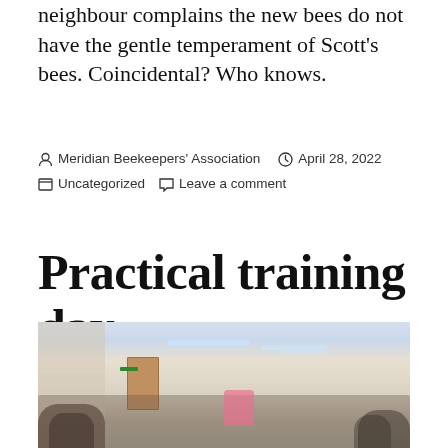neighbour complains the new bees do not have the gentle temperament of Scott's bees. Coincidental? Who knows.
Meridian Beekeepers' Association   April 28, 2022
Uncategorized   Leave a comment
Practical training day
[Figure (photo): Indoor training event photo: a room with strip lighting on the ceiling, people seated in a circle/arc of chairs, a person standing in pink top presenting to the group, wooden doors visible in the background, green exit sign on the wall.]